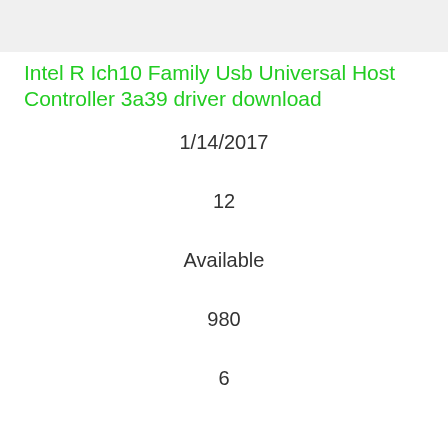[Figure (screenshot): Gray header image area at the top of the page]
Intel R Ich10 Family Usb Universal Host Controller 3a39 driver download
1/14/2017
12
Available
980
6